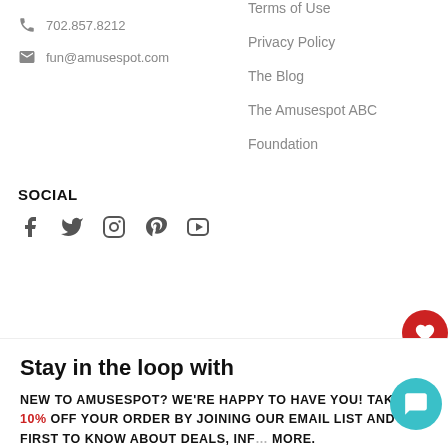702.857.8212
fun@amusespot.com
Terms of Use
Privacy Policy
The Blog
The Amusespot ABC
Foundation
SOCIAL
[Figure (other): Social media icons: Facebook, Twitter, Instagram, Pinterest, YouTube]
[Figure (other): Red circular heart/wishlist button]
Stay in the loop with
NEW TO AMUSESPOT? WE'RE HAPPY TO HAVE YOU! TAKE 10% OFF YOUR ORDER BY JOINING OUR EMAIL LIST AND BE FIRST TO KNOW ABOUT DEALS, INF MORE.
[Figure (other): Teal chat/messaging widget button]